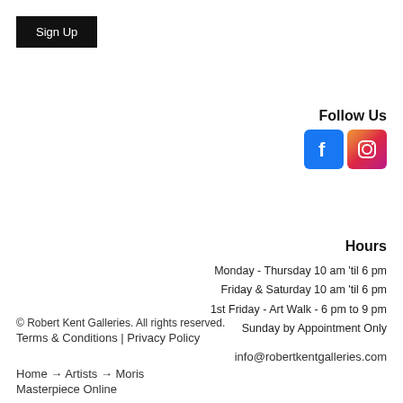Sign Up
Follow Us
[Figure (logo): Facebook and Instagram social media icons]
Hours
Monday - Thursday 10 am 'til 6 pm
Friday & Saturday 10 am 'til 6 pm
1st Friday - Art Walk - 6 pm to 9 pm
Sunday by Appointment Only
© Robert Kent Galleries. All rights reserved.
Terms & Conditions | Privacy Policy
info@robertkentgalleries.com
Home → Artists → Moris
Masterpiece Online